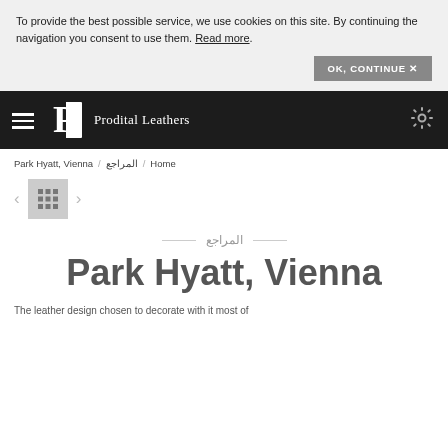To provide the best possible service, we use cookies on this site. By continuing the navigation you consent to use them. Read more.
OK, CONTINUE ✕
Prodital Leathers
Park Hyatt, Vienna / المراجع / Home
[Figure (other): Navigation arrows and grid view button]
المراجع
Park Hyatt, Vienna
The leather design chosen to decorate with it most of...